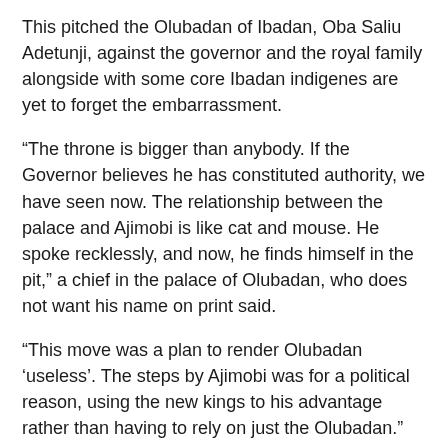This pitched the Olubadan of Ibadan, Oba Saliu Adetunji, against the governor and the royal family alongside with some core Ibadan indigenes are yet to forget the embarrassment.
“The throne is bigger than anybody. If the Governor believes he has constituted authority, we have seen now. The relationship between the palace and Ajimobi is like cat and mouse. He spoke recklessly, and now, he finds himself in the pit,” a chief in the palace of Olubadan, who does not want his name on print said.
“This move was a plan to render Olubadan ‘useless’. The steps by Ajimobi was for a political reason, using the new kings to his advantage rather than having to rely on just the Olubadan.”
He also told our correspondent that Adelabu “did not offend anyone”, but the fact that he was the ‘anointed’ candidate of Ajimobi made people withdraw their support for him.
“This fact about Ajimobi, the aid…